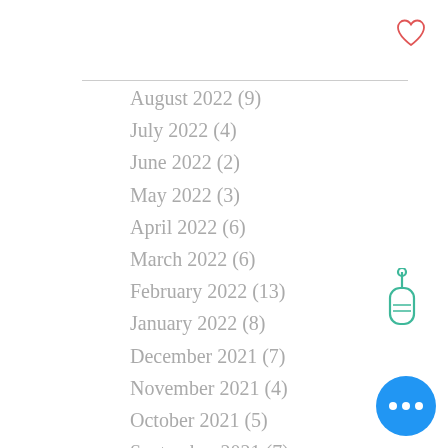[Figure (illustration): Heart (favorite) icon outline in red, top right corner]
August 2022 (9)
July 2022 (4)
June 2022 (2)
May 2022 (3)
April 2022 (6)
March 2022 (6)
February 2022 (13)
January 2022 (8)
December 2021 (7)
November 2021 (4)
October 2021 (5)
September 2021 (7)
August 2021 (6)
[Figure (illustration): Teal/green outline hand pointer finger icon, right side]
[Figure (illustration): Blue circular button with three white dots (more options), bottom right]